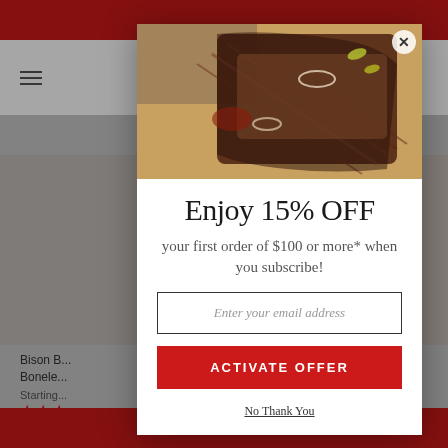[Figure (screenshot): E-commerce website background showing navigation bar with hamburger menu and cart icon, product listings for Bison products, with red top and bottom bars. A modal popup overlay is displayed.]
[Figure (photo): Food photo at top of modal showing sliced BBQ brisket on a cutting board with sauce, onion rings, and peppers.]
Enjoy 15% OFF
your first order of $100 or more* when you subscribe!
Enter your email address
ACTIVATE OFFER
No Thank You